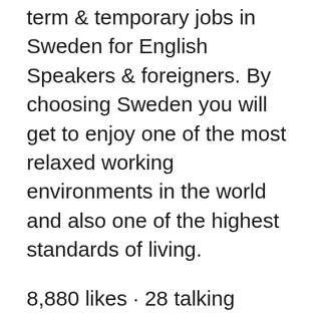term & temporary jobs in Sweden for English Speakers & foreigners. By choosing Sweden you will get to enjoy one of the most relaxed working environments in the world and also one of the highest standards of living.
8,880 likes · 28 talking about this. Find English speaking jobs in Sweden, career advice and connect with international Se hela listan på justlanded.com In order to obtain a work permit, you must fulfil the requirements for a work permit for one job. The requirements cannot be fulfilled by having two or more jobs at once. You need a work permit to work in Sweden whether you are employed in Sweden or abroad, whether you are employed by an employment agency that provides personnel to a company in Sweden, or whether you